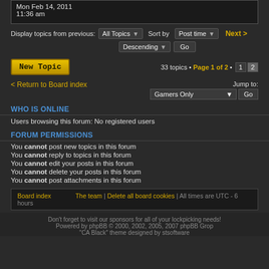Mon Feb 14, 2011
11:36 am
Display topics from previous: All Topics ▼  Sort by  Post time ▼  Next >
Descending ▼  Go
New Topic   33 topics • Page 1 of 2 • 1 2
< Return to Board index   Jump to: Gamers Only ▼ Go
WHO IS ONLINE
Users browsing this forum: No registered users
FORUM PERMISSIONS
You cannot post new topics in this forum
You cannot reply to topics in this forum
You cannot edit your posts in this forum
You cannot delete your posts in this forum
You cannot post attachments in this forum
Board index   The team | Delete all board cookies | All times are UTC - 6 hours
Don't forget to visit our sponsors for all of your lockpicking needs!
Powered by phpBB © 2000, 2002, 2005, 2007 phpBB Grop
"CA Black" theme designed by stsoftware